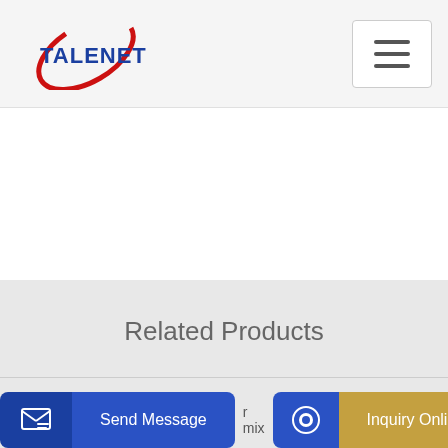[Figure (logo): Talenet company logo with red arc and blue text]
Related Products
professional self loading concrete mixer mixer
776564 VOLVO FE320 EURO4 6x4 CONCRETE MIXER
Send Message
Inquiry Online